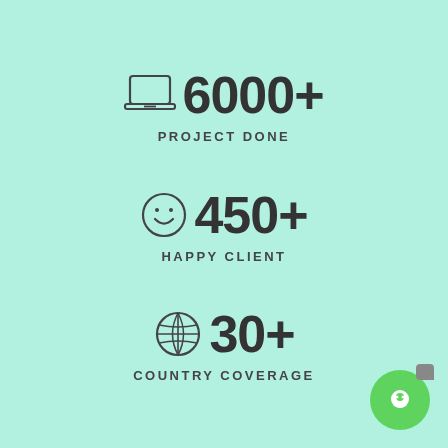[Figure (infographic): Laptop icon followed by bold text '6000+' and subtitle 'PROJECT DONE']
[Figure (infographic): Smiley face icon followed by bold text '450+' and subtitle 'HAPPY CLIENT']
[Figure (infographic): Globe/grid icon followed by bold text '30+' and subtitle 'COUNTRY COVERAGE']